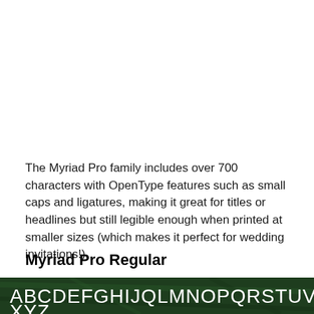The Myriad Pro family includes over 700 characters with OpenType features such as small caps and ligatures, making it great for titles or headlines but still legible enough when printed at smaller sizes (which makes it perfect for wedding invitations!).
Myriad Pro Regular
[Figure (illustration): Dark green textured background with white sans-serif letters 'ABCDEFGHIJQLMNOPQRSTUVW' and partial second row visible at bottom]